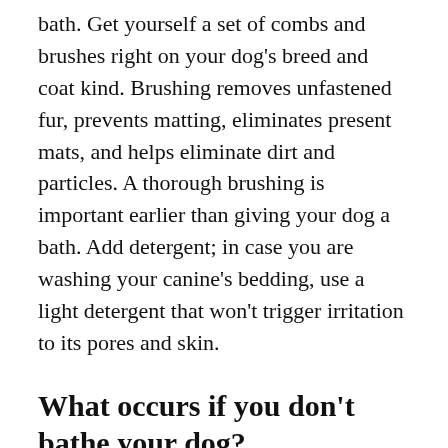bath. Get yourself a set of combs and brushes right on your dog's breed and coat kind. Brushing removes unfastened fur, prevents matting, eliminates present mats, and helps eliminate dirt and particles. A thorough brushing is important earlier than giving your dog a bath. Add detergent; in case you are washing your canine's bedding, use a light detergent that won't trigger irritation to its pores and skin.
What occurs if you don't bathe your dog?
While it's important to maintain your